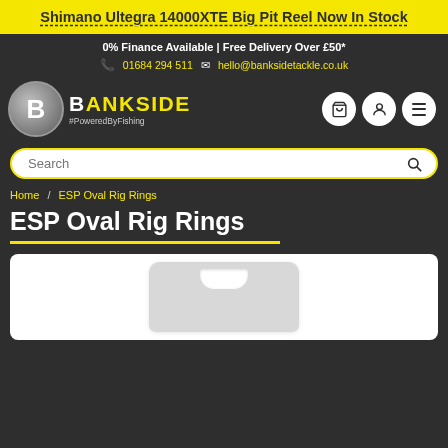Shimano Ultegra 14000XTE Big Pit Reel Now In Stock
0% Finance Available | Free Delivery Over £50*
01684 294 511   hello@banksidetackle.co.uk
[Figure (logo): Bankside Tackle logo — circular B badge with BANKSIDE text and #PoweredByFishing tagline]
Search
Home / ESP Oval Rig Rings
ESP Oval Rig Rings
[Figure (photo): Product packaging for ESP Oval Rig Rings — white rectangular hang-sell blister card with hanging hole at top]